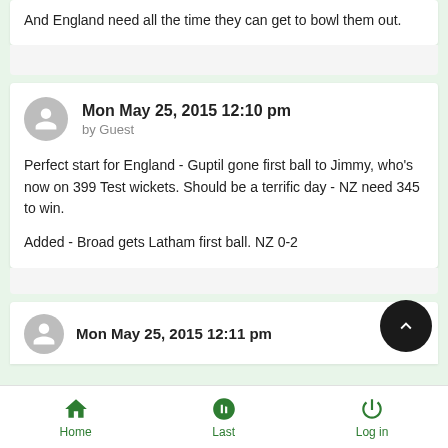And England need all the time they can get to bowl them out.
Mon May 25, 2015 12:10 pm
by Guest
Perfect start for England - Guptil gone first ball to Jimmy, who's now on 399 Test wickets. Should be a terrific day - NZ need 345 to win.

Added - Broad gets Latham first ball. NZ 0-2
Mon May 25, 2015 12:11 pm